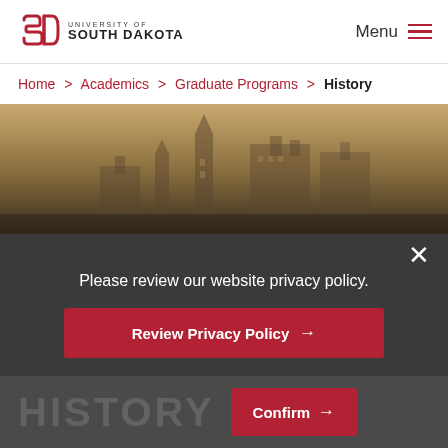University of South Dakota — Menu
Home > Academics > Graduate Programs > History
[Figure (photo): Sepia-toned photograph of historic University of South Dakota campus buildings with towers and Victorian architecture, with a warm golden-brown gradient overlay]
Please review our website privacy policy.
Review Privacy Policy →
HISTORY
Confirm →